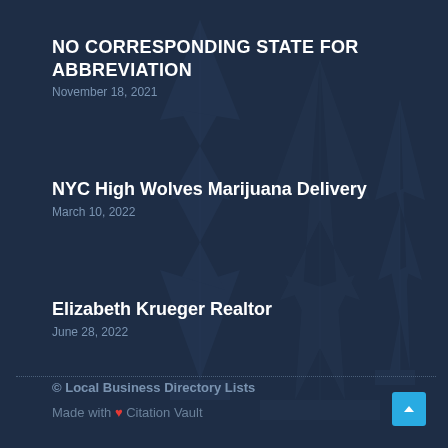NO CORRESPONDING STATE FOR ABBREVIATION
November 18, 2021
NYC High Wolves Marijuana Delivery
March 10, 2022
Elizabeth Krueger Realtor
June 28, 2022
© Local Business Directory Lists
Made with ❤ Citation Vault